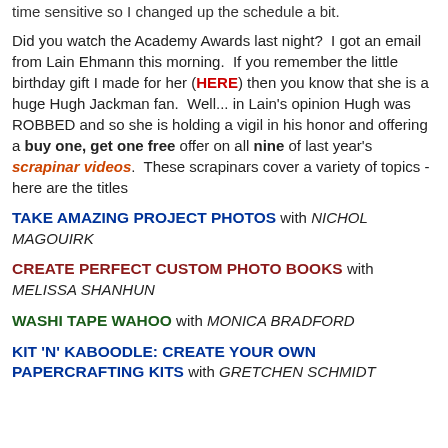time sensitive so I changed up the schedule a bit.
Did you watch the Academy Awards last night?  I got an email from Lain Ehmann this morning.  If you remember the little birthday gift I made for her (HERE) then you know that she is a huge Hugh Jackman fan.  Well... in Lain's opinion Hugh was ROBBED and so she is holding a vigil in his honor and offering a buy one, get one free offer on all nine of last year's scrapinar videos.  These scrapinars cover a variety of topics - here are the titles
TAKE AMAZING PROJECT PHOTOS with NICHOL MAGOUIRK
CREATE PERFECT CUSTOM PHOTO BOOKS with MELISSA SHANHUN
WASHI TAPE WAHOO with MONICA BRADFORD
KIT 'N' KABOODLE: CREATE YOUR OWN PAPERCRAFTING KITS with GRETCHEN SCHMIDT